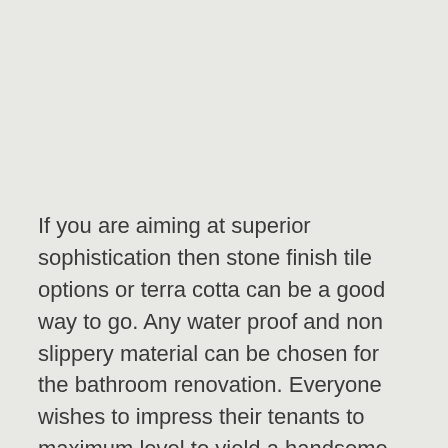If you are aiming at superior sophistication then stone finish tile options or terra cotta can be a good way to go. Any water proof and non slippery material can be chosen for the bathroom renovation. Everyone wishes to impress their tenants to maximum level to yield a handsome rent from them. Anyone can feel spoilt with choices when it comes to choosing that perfect tile for bathroom refurbishing. So before choosing tile options it is feasible to understand the different options and their whereabouts.